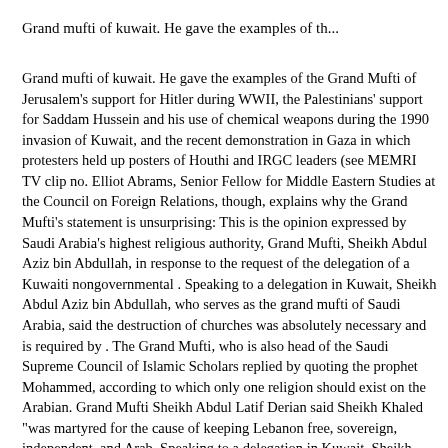Grand mufti of kuwait. He gave the examples of th...
Grand mufti of kuwait. He gave the examples of the Grand Mufti of Jerusalem's support for Hitler during WWII, the Palestinians' support for Saddam Hussein and his use of chemical weapons during the 1990 invasion of Kuwait, and the recent demonstration in Gaza in which protesters held up posters of Houthi and IRGC leaders (see MEMRI TV clip no. Elliot Abrams, Senior Fellow for Middle Eastern Studies at the Council on Foreign Relations, though, explains why the Grand Mufti's statement is unsurprising: This is the opinion expressed by Saudi Arabia's highest religious authority, Grand Mufti, Sheikh Abdul Aziz bin Abdullah, in response to the request of the delegation of a Kuwaiti nongovernmental . Speaking to a delegation in Kuwait, Sheikh Abdul Aziz bin Abdullah, who serves as the grand mufti of Saudi Arabia, said the destruction of churches was absolutely necessary and is required by . The Grand Mufti, who is also head of the Saudi Supreme Council of Islamic Scholars replied by quoting the prophet Mohammed, according to which only one religion should exist on the Arabian. Grand Mufti Sheikh Abdul Latif Derian said Sheikh Khaled "was martyred for the cause of keeping Lebanon free, sovereign, independent, and Arab. Speaking to a delegation in Kuwait, Sheikh Abdul Aziz bin Abdullah, stressed that since the tiny Gulf state was a part of the Arabian Peninsula, it was